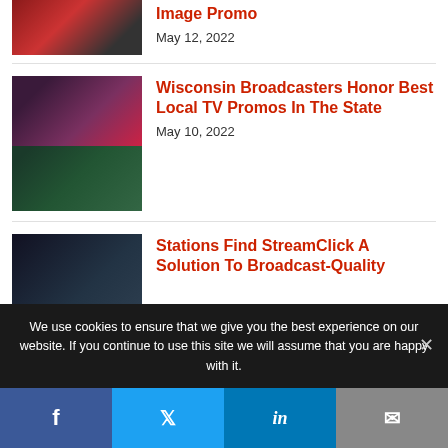[Figure (photo): News article thumbnail - red/dark tones, partial image visible at top (cropped)]
Image Promo
May 12, 2022
[Figure (photo): Two stacked images: top shows people at an event with red/purple background; bottom shows a group of people holding award plaques]
Wisconsin Broadcasters Honor Best Local TV Promos In The State
May 10, 2022
[Figure (photo): Dark image of a broadcast studio/newsroom interior with people around a curved desk]
Stations Find StreamClick A Solution To Broadcast-Quality
We use cookies to ensure that we give you the best experience on our website. If you continue to use this site we will assume that you are happy with it.